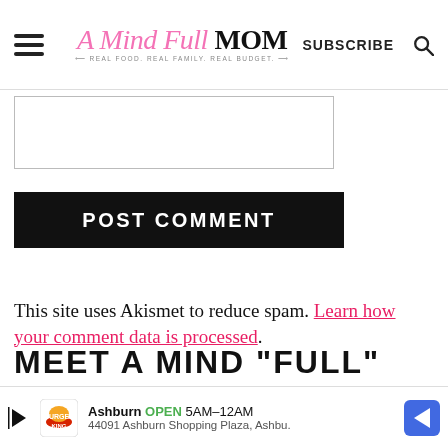A Mind Full MOM — REAL FOOD. REAL FAMILY. REAL BUDGET. SUBSCRIBE
[Figure (other): Comment text area input box (partially visible, cropped at top)]
POST COMMENT
This site uses Akismet to reduce spam. Learn how your comment data is processed.
MEET A MIND "FULL"
[Figure (other): Burger King advertisement banner: Ashburn OPEN 5AM–12AM, 44091 Ashburn Shopping Plaza, Ashbu.]